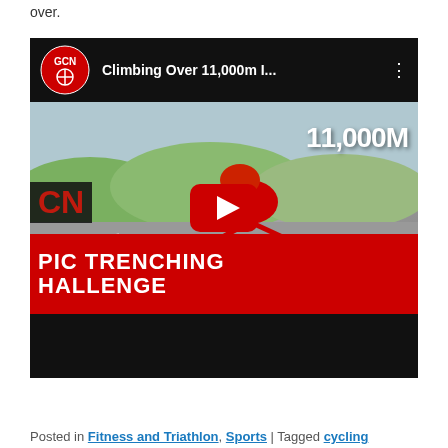over.
[Figure (screenshot): YouTube video thumbnail for 'Climbing Over 11,000m I...' by GCN (Global Cycling Network). Shows a cyclist in red GCN kit hunched over a road bike on a hill road. Large text reads '11,000M' and red banner reads 'EPIC TRENCHING CHALLENGE'. A YouTube play button is overlaid in the center.]
Posted in Fitness and Triathlon, Sports | Tagged cycling